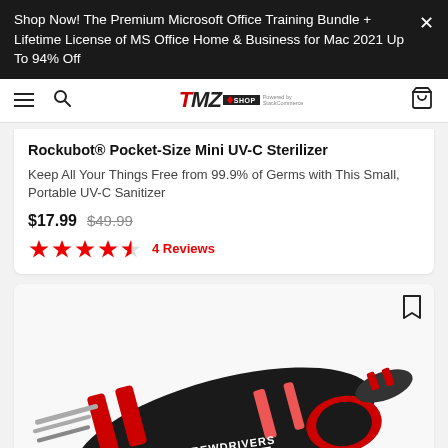Shop Now! The Premium Microsoft Office Training Bundle + Lifetime License of MS Office Home & Business for Mac 2021 Up To 94% Off
[Figure (screenshot): TMZ Shop navigation bar with hamburger menu, search icon, TMZ Shop logo, and cart icon]
Rockubot® Pocket-Size Mini UV-C Sterilizer
Keep All Your Things Free from 99.9% of Germs with This Small, Portable UV-C Sanitizer
$17.99  $49.99
4 Reviews
[Figure (photo): 8-in-one screwdriver multi-tool product image, black and red colored, showing multiple screwdriver bits]